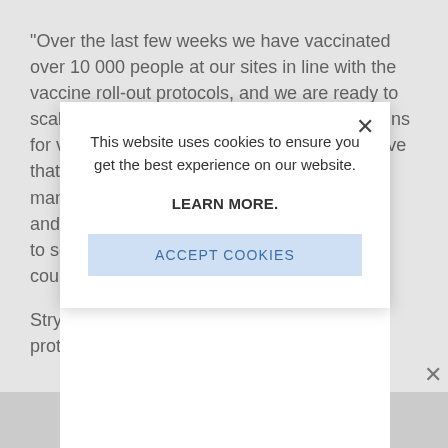“Over the last few weeks we have vaccinated over 10 000 people at our sites in line with the vaccine roll-out protocols, and we are ready to scale up further. The next phase of registrations for vaccination begins today, and it’s imperative that as man and to se cour Stry prot
[Figure (screenshot): Cookie consent modal dialog overlaying a webpage. The modal contains the text 'This website uses cookies to ensure you get the best experience on our website.' followed by 'LEARN MORE.' in bold and an 'ACCEPT COOKIES' button with light blue background. A close (X) button is in the top right corner of the modal.]